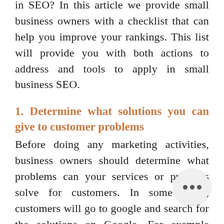in SEO? In this article we provide small business owners with a checklist that can help you improve your rankings. This list will provide you with both actions to address and tools to apply in small business SEO.
1. Determine what solutions you can give to customer problems
Before doing any marketing activities, business owners should determine what problems can your services or products solve for customers. In some cases, customers will go to google and search for the solutions on Google. For example when they have leaking pipe, they will search the solutions for t… you can provide the solution for